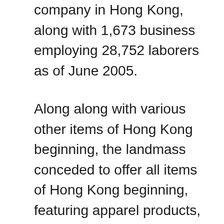company in Hong Kong, along with 1,673 business employing 28,752 laborers as of June 2005.
Along along with various other items of Hong Kong beginning, the landmass conceded to offer all items of Hong Kong beginning, featuring apparel products, tariff-free procedure beginning coming from 1 January 2006. They are actually capable to supply premium apparel posts in quick lead opportunity, as international merchants as well as stores ask for garments providers to secure up source establishment monitoring to make sure the gotten product connecting with the shop flooring at the ideal opportunity. Hong Kong's overall exports of clothes increased year-on-year through 9%